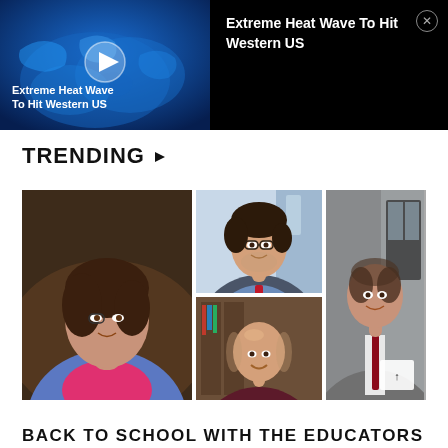[Figure (screenshot): Video thumbnail showing 'Extreme Heat Wave To Hit Western US' news segment with blue world map background and play button]
Extreme Heat Wave To Hit Western US
TRENDING ▶
[Figure (photo): Grid of professional headshots: woman in blue blazer with pink top (left), man with glasses in blue shirt and red tie (top center), bald man in dark top (bottom center), man in grey suit with red tie (right)]
BACK TO SCHOOL WITH THE EDUCATORS